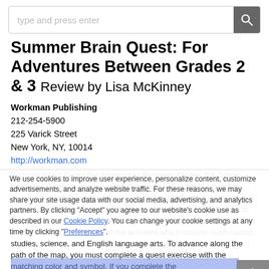[Figure (screenshot): Search bar with placeholder text 'type and press enter' and a search icon button on the right]
Summer Brain Quest: For Adventures Between Grades 2 & 3 Review by Lisa McKinney
Workman Publishing
212-254-5900
225 Varick Street
New York, NY, 10014
http://workman.com
Summer Brain Quest For Adventures Between Grades 2 & 3 from Workman Publishing is a workbook, game, and outdoor adventure designed to help your children get ready for 3rd grade. Unlike many workbooks, this one is filled 15+ pages of learning fun, interactive at every level. The workbook (which retails at $12.95) begins with a map that guides you through all of the activities which include math, social studies, science, and English language arts. To advance along the path of the map, you must complete a quest exercise with the matching color and symbol. If you complete the
We use cookies to improve user experience, personalize content, customize advertisements, and analyze website traffic. For these reasons, we may share your site usage data with our social media, advertising, and analytics partners. By clicking "Accept" you agree to our website's cookie use as described in our Cookie Policy. You can change your cookie settings at any time by clicking "Preferences".